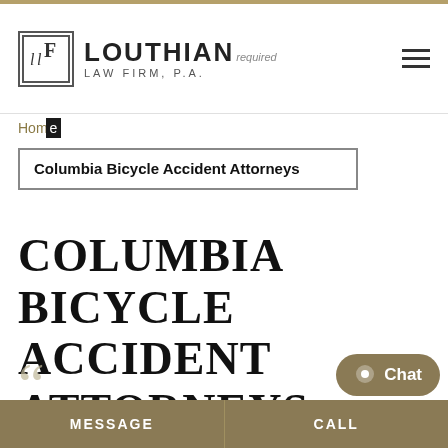[Figure (logo): Louthian Law Firm, P.A. logo with LLF monogram in a square box and text 'LOUTHIAN LAW FIRM, P.A.' with 'required' text overlay]
Columbia Bicycle Accident Attorneys
Home
Columbia Bicycle Accident Attorneys
COLUMBIA BICYCLE ACCIDENT ATTORNEYS
Mr. Louthian and the Louthian Law Firm provided me with excellent legal services regarding a legal
MESSAGE  |  CALL